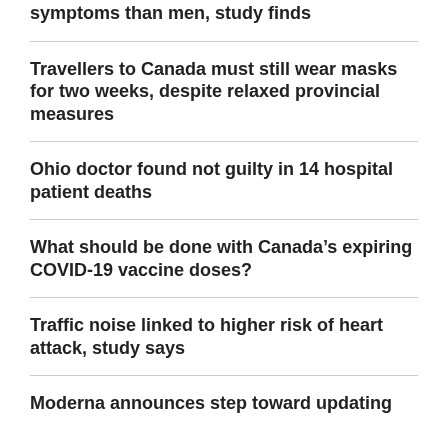symptoms than men, study finds
Travellers to Canada must still wear masks for two weeks, despite relaxed provincial measures
Ohio doctor found not guilty in 14 hospital patient deaths
What should be done with Canada’s expiring COVID-19 vaccine doses?
Traffic noise linked to higher risk of heart attack, study says
Moderna announces step toward updating